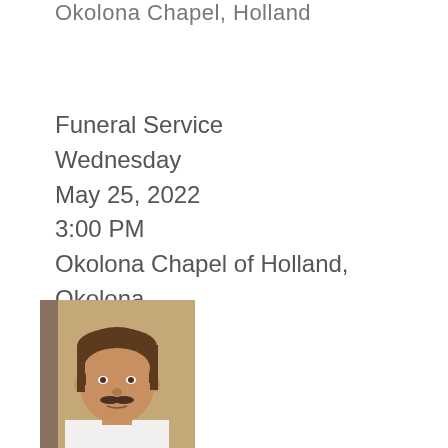Okolona Chapel, Holland
Funeral Service
Wednesday
May 25, 2022
3:00 PM
Okolona Chapel of Holland, Okolona
[Figure (photo): Portrait photo of a middle-aged man with dark brown hair in a bowl cut style and a mustache, wearing a white shirt, photographed indoors against a brown background.]